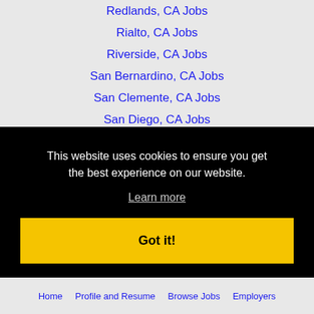Redlands, CA Jobs
Rialto, CA Jobs
Riverside, CA Jobs
San Bernardino, CA Jobs
San Clemente, CA Jobs
San Diego, CA Jobs
San Marcos, CA Jobs
Santee, CA Jobs
Temecula, CA Jobs
Tustin, CA Jobs
This website uses cookies to ensure you get the best experience on our website.
Learn more
Got it!
Home   Profile and Resume   Browse Jobs   Employers